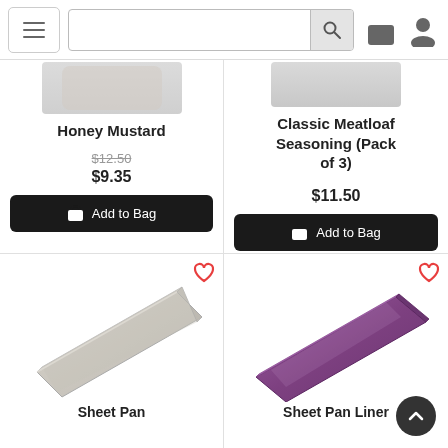Navigation header with hamburger menu, search bar, bag icon, and user icon
[Figure (screenshot): Partial product image for Honey Mustard at top of card (cropped top)]
Honey Mustard
$12.50 (strikethrough original price)
$9.35
Add to Bag
[Figure (screenshot): Partial product image for Classic Meatloaf Seasoning at top of card (cropped top)]
Classic Meatloaf Seasoning (Pack of 3)
$11.50
Add to Bag
[Figure (photo): Silver aluminum sheet pan baking tray, angled view on white background]
Sheet Pan
[Figure (photo): Purple/plum colored sheet pan liner, angled view on white background]
Sheet Pan Liner